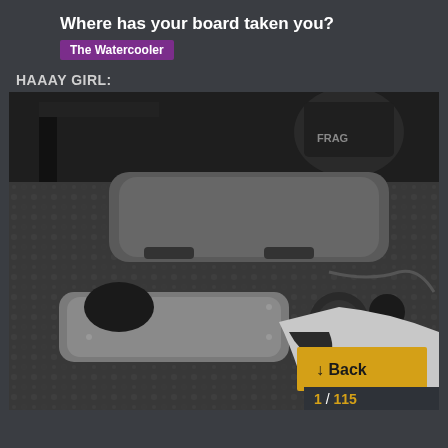Where has your board taken you?
The Watercooler
HAAAY GIRL:
[Figure (photo): Black and white overhead photo of a person standing on a skateboard/electric longboard on a patterned carpet, with another board visible in the background. Person wearing a boot/shoe visible, luggage with FRAGILE sticker visible in background.]
↓ Back
1 / 115